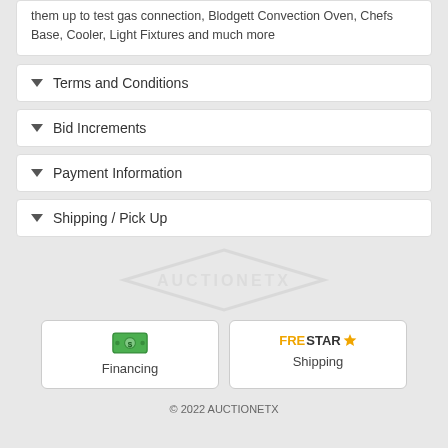them up to test gas connection, Blodgett Convection Oven, Chefs Base, Cooler, Light Fixtures and much more
Terms and Conditions
Bid Increments
Payment Information
Shipping / Pick Up
[Figure (logo): Financing button with money icon]
[Figure (logo): Shipping button with FreeStar logo]
© 2022 AUCTIONETX